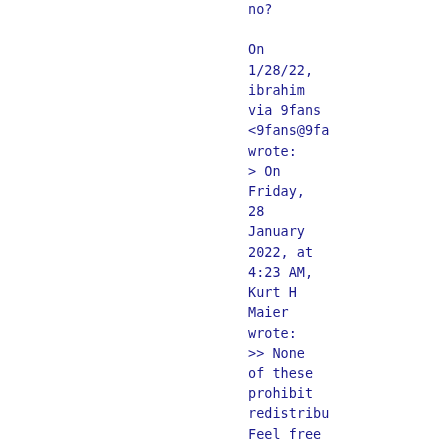no?

On 1/28/22, ibrahim via 9fans <9fans@9fa wrote:
> On Friday, 28 January 2022, at 4:23 AM, Kurt H Maier wrote:
>> None of these prohibit redistribut Feel free to delete them from
> your copy.
>
> I'm intending